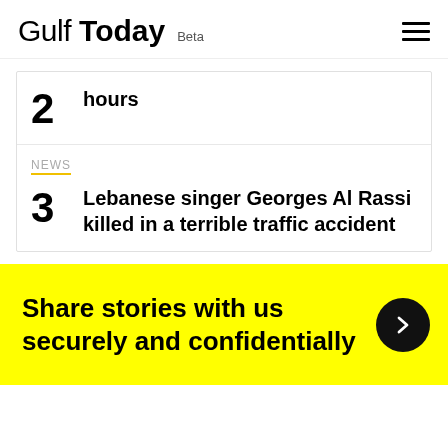Gulf Today Beta
2 hours
NEWS — Lebanese singer Georges Al Rassi killed in a terrible traffic accident
Share stories with us securely and confidentially